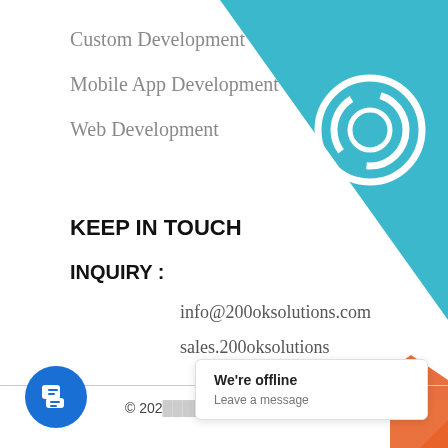[Figure (illustration): Teal diagonal background with circular icon in top-right corner]
Custom Development
Mobile App Development
Web Development
KEEP IN TOUCH
INQUIRY :
info@200oksolutions.com
sales.200oksolutions
© 202... All Rights Reserved.
We're offline
Leave a message